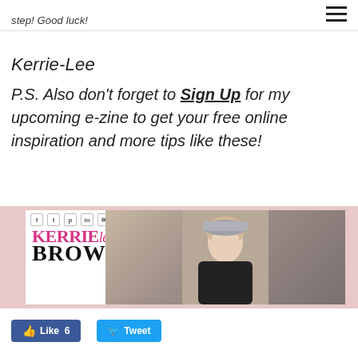≡ (hamburger menu icon)
step! Good luck!
Kerrie-Lee
P.S. Also don't forget to Sign Up for my upcoming e-zine to get your free online inspiration and more tips like these!
[Figure (screenshot): Screenshot of Kerrie Lee Brown website with social share icons, logo text 'KERRIE lee BROWN' in pink and black, and a photo of a smiling blonde woman holding a grey hat]
Like 6   Tweet